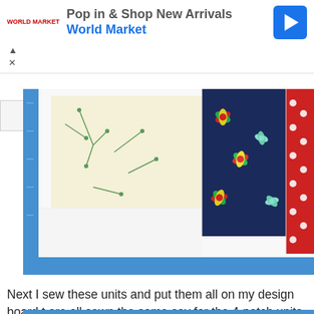[Figure (screenshot): Advertisement banner for World Market showing logo, 'Pop in & Shop New Arrivals' text, 'World Market' in blue, and a blue direction arrow icon]
[Figure (photo): Close-up photo of a patchwork quilt on a design board, showing blue border binding, white background fabric, cream fabric with green branch print, navy fabric with colorful floral pattern, red fabric with white polka dots, and red/green triangle patches]
Next I sew these units and put them all on my design board t are all sewn the same say for the 4-patch units.
[Figure (photo): Partial view of the bottom of the quilt showing the blue binding strip at the top of a second photo]